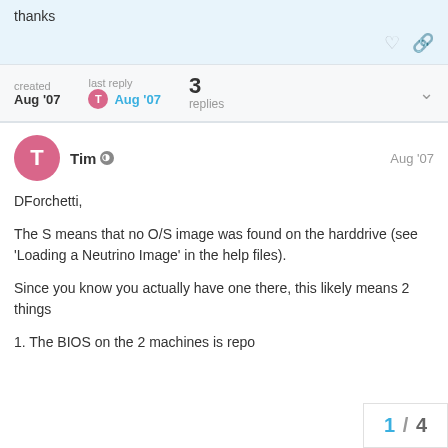thanks
created Aug '07   last reply T Aug '07   3 replies
Tim  Aug '07
DForchetti,
The S means that no O/S image was found on the harddrive (see ‘Loading a Neutrino Image’ in the help files).
Since you know you actually have one there, this likely means 2 things
1. The BIOS on the 2 machines is repo
1 / 4